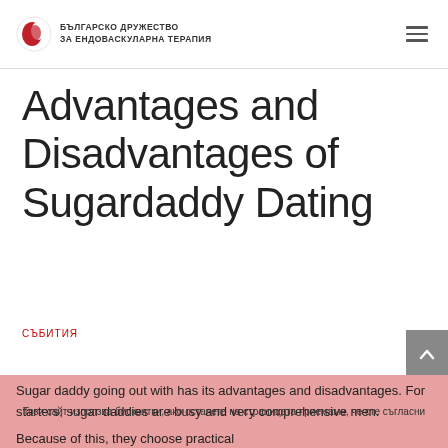БЪЛГАРСКО ДРУЖЕСТВО ЗА ЕНДОВАСКУЛАРНА ТЕРАПИЯ
Advantages and Disadvantages of Sugardaddy Dating
събития
Sugar daddy going out with has its advantages and disadvantages. For starters, sugar daddies are busy and very comprehensive men. Because of this, they choose practical
Този сайт използва бисквитки, ако останете на страницата приемаме, че сте съгласни